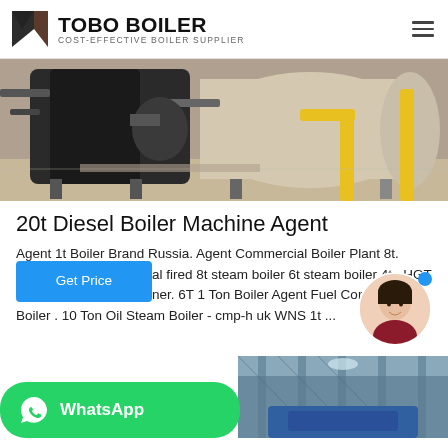[Figure (logo): TOBO BOILER logo with dark square icon and text 'COST-EFFECTIVE BOILER SUPPLIER']
[Figure (photo): Industrial boiler machinery in a facility, showing large cylindrical boilers with yellow piping]
20t Diesel Boiler Machine Agent
Agent 1t Boiler Brand Russia. Agent Commercial Boiler Plant 8t. al fired 8t steam boiler 6t steam boiler 4t . HGT ner. 6T 1 Ton Boiler Agent Fuel Consum am Boiler . 10 Ton Oil Steam Boiler - cmp-h uk WNS 1t ...
[Figure (screenshot): Get Price blue button overlay]
[Figure (photo): WhatsApp green banner with icon and text 'WhatsApp']
[Figure (photo): Partial view of industrial interior with blue and white ceiling structure]